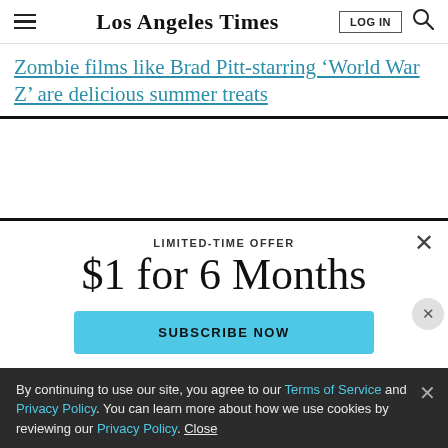Los Angeles Times
Zombie films like Brad Pitt-starring ‘World War Z’ are delicious summer treats
LIMITED-TIME OFFER
$1 for 6 Months
SUBSCRIBE NOW
By continuing to use our site, you agree to our Terms of Service and Privacy Policy. You can learn more about how we use cookies by reviewing our Privacy Policy. Close